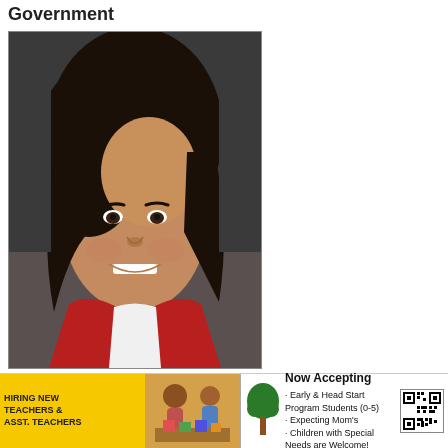Government
[Figure (photo): Professional headshot of Tiffany Gunter, a woman wearing a red blazer and white shirt, smiling, with dark hair.]
The City of Birmingham hired Tiffany Gunter as its new
× Hide   ty Manager. In this role, she will act as the
[Figure (infographic): Advertisement banner split into two sections: left side yellow background with text 'HIRING NEW TEACHERS & ASST. TEACHERS' and image of children; right side white background with 'Now Accepting' heading and bullet points about Early & Head Start Program Students (0-5), Expecting Mom's, Children with Special Needs are Welcome!, plus a QR code.]